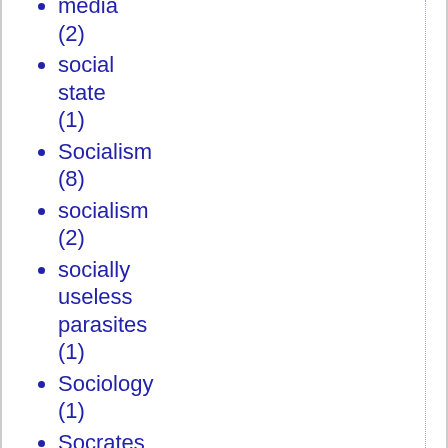media (2)
social state (1)
Socialism (8)
socialism (2)
socially useless parasites (1)
Sociology (1)
Socrates (2)
SOF (1)
Solzhenitsyn (5)
sound banking (1)
South